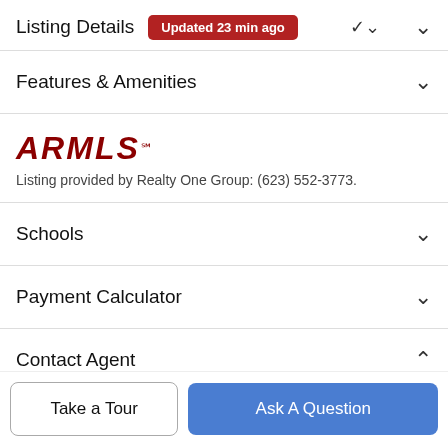Listing Details Updated 23 min ago
Features & Amenities
[Figure (logo): ARMLS logo in dark red italic bold text]
Listing provided by Realty One Group: (623) 552-3773.
Schools
Payment Calculator
Contact Agent
[Figure (photo): Partial agent profile photo circle]
Heather Quere...
Take a Tour
Ask A Question